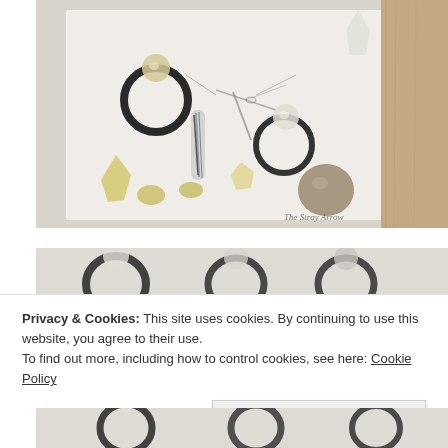[Figure (photo): Jewelry photo showing multiple crystal and gemstone rings with dark metal bands arranged on a white surface alongside various loose yellow, clear, and brown crystals/stones. A dragonfly illustration is visible in the background. Watermark reads 'The Stray Arrow'.]
[Figure (photo): Partial jewelry photo showing dark metal rings with gemstone settings on a light background, partially obscured by cookie consent banner.]
Privacy & Cookies: This site uses cookies. By continuing to use this website, you agree to their use.
To find out more, including how to control cookies, see here: Cookie Policy
[Figure (photo): Partial jewelry photo at bottom showing dark metal rings with gemstone settings, partially cropped.]